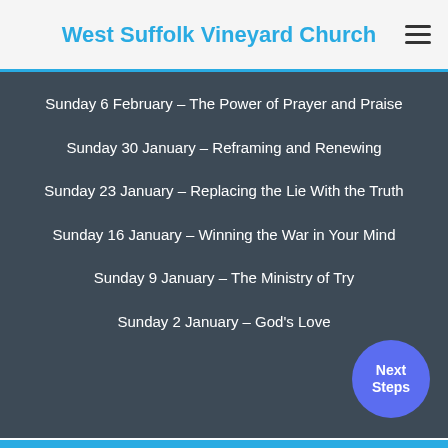West Suffolk Vineyard Church
Sunday 6 February – The Power of Prayer and Praise
Sunday 30 January – Reframing and Renewing
Sunday 23 January – Replacing the Lie With the Truth
Sunday 16 January – Winning the War in Your Mind
Sunday 9 January – The Ministry of Try
Sunday 2 January – God's Love
Next Steps